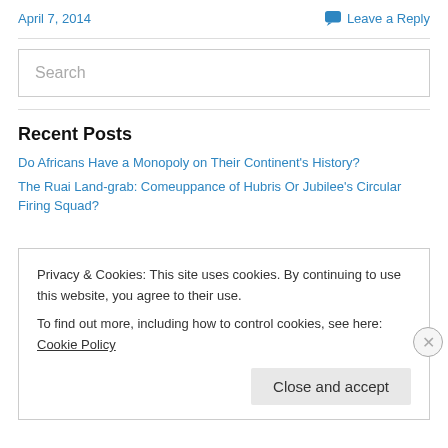April 7, 2014 | Leave a Reply
Recent Posts
Do Africans Have a Monopoly on Their Continent's History?
The Ruai Land-grab: Comeuppance of Hubris Or Jubilee's Circular Firing Squad?
Privacy & Cookies: This site uses cookies. By continuing to use this website, you agree to their use.
To find out more, including how to control cookies, see here: Cookie Policy
Close and accept